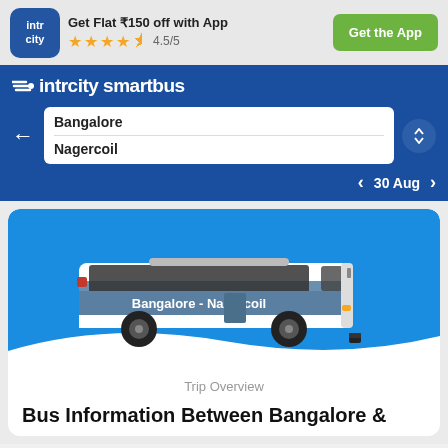[Figure (screenshot): IntrCity app banner with logo, 4.5/5 star rating, and Get the App button]
Get Flat ₹150 off with App
4.5/5
Get the App
[Figure (screenshot): IntrCity SmartBus navigation bar showing route from Bangalore to Nagercoil, with back arrow, swap button, and date 30 Aug]
intrcity smartbus
Bangalore
Nagercoil
30 Aug
[Figure (illustration): Blue and white intercity bus illustration with text Bangalore - Nagercoil on the side, on a blue background with white wave]
Trip Overview
Bus Information Between Bangalore &